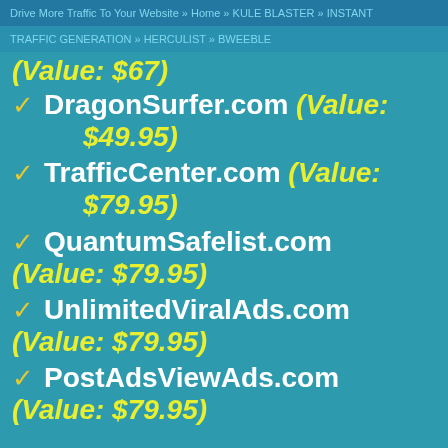Drive More Traffic To Your Website » Home » KULE BLASTER » INSTANT
TRAFFIC GENERATION » HERCULIST » BWEEBLE
(Value: $67)
✓ DragonSurfer.com (Value: $49.95)
✓ TrafficCenter.com (Value: $79.95)
✓ QuantumSafelist.com (Value: $79.95)
✓ UnlimitedViralAds.com (Value: $79.95)
✓ PostAdsViewAds.com (Value: $79.95)